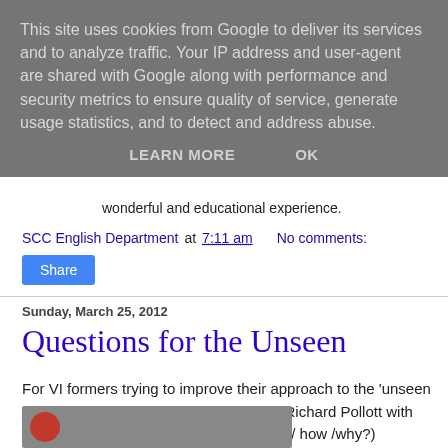This site uses cookies from Google to deliver its services and to analyze traffic. Your IP address and user-agent are shared with Google along with performance and security metrics to ensure quality of service, generate usage statistics, and to detect and address abuse.
LEARN MORE   OK
wonderful and educational experience.
SCC English Department at 7:11 am    No comments:
Share
Sunday, March 25, 2012
Questions for the Unseen
For VI formers trying to improve their approach to the 'unseen poem' in the Leaving Certificate, here's Richard Pollott with his 6W cube (who / where / what / when / how /why?)
[Figure (photo): Partial bottom image strip of a photo, appears to show a person, partially visible at bottom of page.]